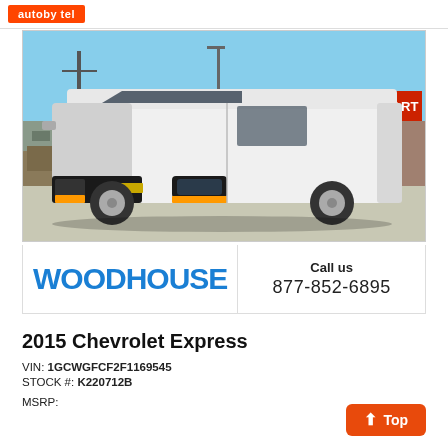[Figure (photo): White 2015 Chevrolet Express cargo van parked in a lot with a PETROMART sign visible in the background, blue sky.]
WOODHOUSE
Call us
877-852-6895
2015 Chevrolet Express
VIN: 1GCWGFCF2F1169545
STOCK #: K220712B
MSRP:
-